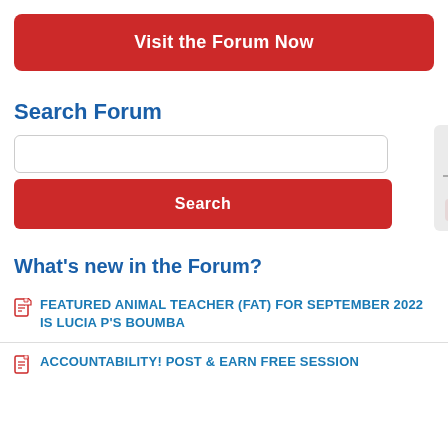Visit the Forum Now
Search Forum
Search
What's new in the Forum?
FEATURED ANIMAL TEACHER (FAT) FOR SEPTEMBER 2022 IS LUCIA P'S BOUMBA
ACCOUNTABILITY! POST & EARN FREE SESSION